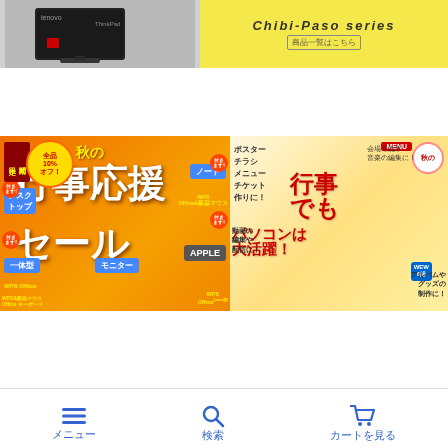[Figure (screenshot): Top banner showing a Lenovo ThinkPad desktop computer on grey background left, and Chibi-Paso series advertisement on yellow background right with text 商品一覧はこちら]
[Figure (screenshot): Autumn sale banner (秋の行事応援セール) on orange background. Left side shows 全品10%オフ! and product categories: デスクトップ, ノート, 一体型, モニター, APPLE with WPS Office bundles. Right side shows MENU items: ポスター, チラシ, メニュー, チケット and text 行事でもパソコンは大活躍! with activities like 動画の編集や配信に!, アルバムやグッズの制作に!, 会場で流す音楽の編集に!]
[Figure (screenshot): Red clearance sale banner. Text: 一棹だけじゃ終わらない! 在庫一掃! with MAX 50%OFF! badge and あまりの安さに売り切れ御免!]
[Figure (screenshot): Junk World (ジャンクワールド) green header banner with text 選ぶ時間が欲しい！サクッと見たい！ and circular arrow icon]
[Figure (screenshot): Bottom navigation bar with three items: メニュー (hamburger icon), 検索 (search icon), カートを見る (cart icon), all in blue]